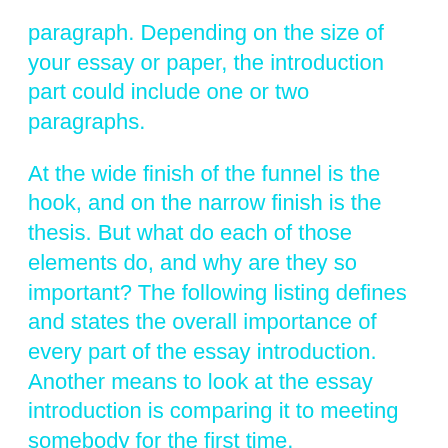paragraph. Depending on the size of your essay or paper, the introduction part could include one or two paragraphs.
At the wide finish of the funnel is the hook, and on the narrow finish is the thesis. But what do each of those elements do, and why are they so important? The following listing defines and states the overall importance of every part of the essay introduction. Another means to look at the essay introduction is comparing it to meeting somebody for the first time.
Your thoughts can change their viewpoints on issues, and your essay writing ought to let them know that. In your reading and analysis on your essay, you would possibly have come throughout an entertaining or interesting anecdote that,